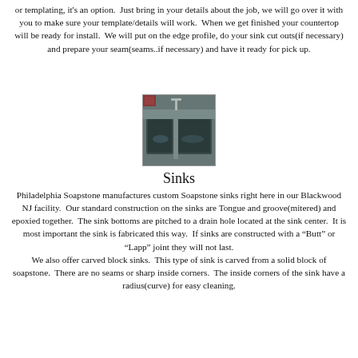or templating, it's an option.  Just bring in your details about the job, we will go over it with you to make sure your template/details will work.  When we get finished your countertop will be ready for install.  We will put on the edge profile, do your sink cut outs(if necessary) and prepare your seam(seams..if necessary) and have it ready for pick up.
[Figure (photo): Photo of a soapstone sink with faucet installed, showing dark stone with multiple basins]
Sinks
Philadelphia Soapstone manufactures custom Soapstone sinks right here in our Blackwood NJ facility.  Our standard construction on the sinks are Tongue and groove(mitered) and epoxied together.  The sink bottoms are pitched to a drain hole located at the sink center.  It is most important the sink is fabricated this way.  If sinks are constructed with a “Butt” or “Lapp” joint they will not last.
We also offer carved block sinks.  This type of sink is carved from a solid block of soapstone.  There are no seams or sharp inside corners.  The inside corners of the sink have a radius(curve) for easy cleaning.